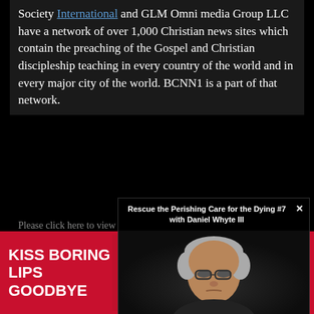Society International and GLM Omni media Group LLC have a network of over 1,000 Christian news sites which contain the preaching of the Gospel and Christian discipleship teaching in every country of the world and in every major city of the world. BCNN1 is a part of that network.
Please click here to view some of those sites
[Figure (screenshot): Video popup overlay titled 'Rescue the Perishing Care for the Dying #7 with Daniel Whyte III' showing a man with glasses and white hair looking down. Close button (x) in top right corner.]
[Figure (photo): Advertisement banner for Macy's cosmetics. Red background with white text reading 'KISS BORING LIPS GOODBYE'. Center shows a woman's face with red lips. Right side has a 'SHOP NOW' button and Macy's star logo.]